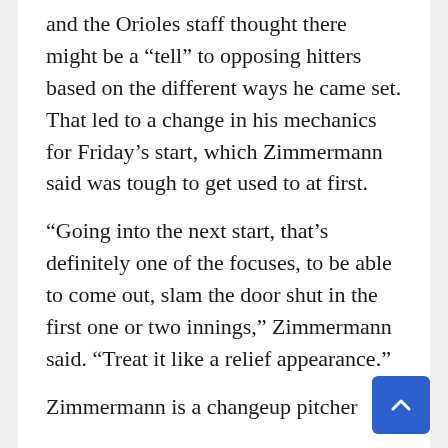and the Orioles staff thought there might be a “tell” to opposing hitters based on the different ways he came set. That led to a change in his mechanics for Friday’s start, which Zimmermann said was tough to get used to at first.
“Going into the next start, that’s definitely one of the focuses, to be able to come out, slam the door shut in the first one or two innings,” Zimmermann said. “Treat it like a relief appearance.”
Zimmermann is a changeup pitcher